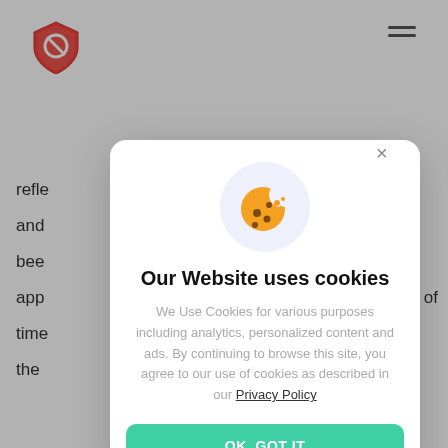[Figure (logo): Red shield logo with a prohibition/no symbol in white in the center]
[Figure (illustration): Cookie consent modal overlay with cookie icon, title, body text, and OK button]
Our Website uses cookies
We Use Cookies for various purposes including analytics, personalized content and ads. By continuing to browse this site, you agree to our use of cookies as described in our Privacy Policy